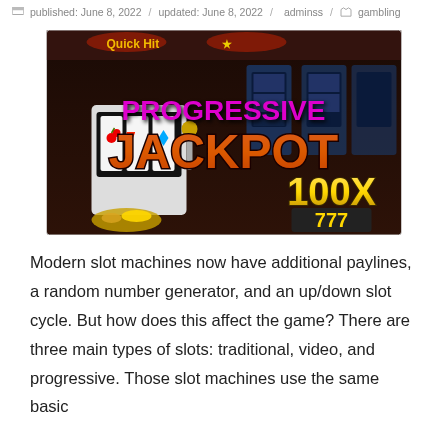published: June 8, 2022 / updated: June 8, 2022 / adminss / gambling
[Figure (photo): Casino slot machines with text overlay reading 'PROGRESSIVE JACKPOT' in large stylized lettering. The word PROGRESSIVE is in magenta/pink, and JACKPOT is in a red and yellow 3D block font. A classic slot machine reel shows cherries and 7s. Lower right shows '100X' and '777' text. Background shows a casino floor with multiple slot machines.]
Modern slot machines now have additional paylines, a random number generator, and an up/down slot cycle. But how does this affect the game? There are three main types of slots: traditional, video, and progressive. Those slot machines use the same basic